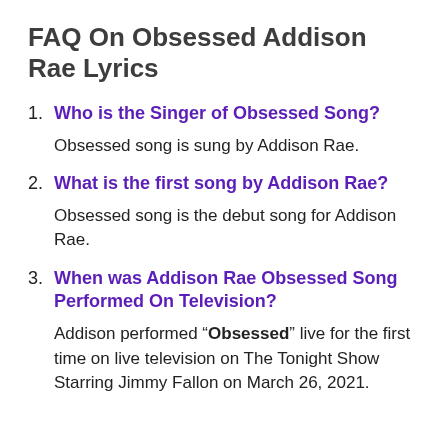FAQ On Obsessed Addison Rae Lyrics
1. Who is the Singer of Obsessed Song?
Obsessed song is sung by Addison Rae.
2. What is the first song by Addison Rae?
Obsessed song is the debut song for Addison Rae.
3. When was Addison Rae Obsessed Song Performed On Television?
Addison performed “Obsessed” live for the first time on live television on The Tonight Show Starring Jimmy Fallon on March 26, 2021.